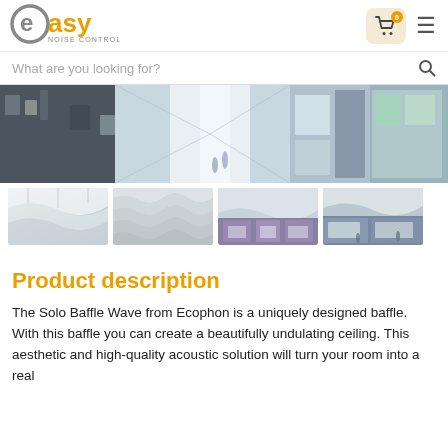[Figure (logo): Easy Noise Control logo with circular 'e' icon in gray and 'asy' in orange, with 'NOISE CONTROL' text below]
[Figure (screenshot): Shopping cart icon with orange badge showing '0' and hamburger menu icon]
[Figure (screenshot): Search bar with placeholder text 'What are you looking for?' and search icon]
[Figure (photo): Wide panoramic photo of a modern shopping mall interior with bright corridors and retail stores]
[Figure (photo): Four thumbnail photos showing acoustic baffle ceiling installations in retail/commercial spaces]
Product description
The Solo Baffle Wave from Ecophon is a uniquely designed baffle. With this baffle you can create a beautifully undulating ceiling. This aesthetic and high-quality acoustic solution will turn your room into a real